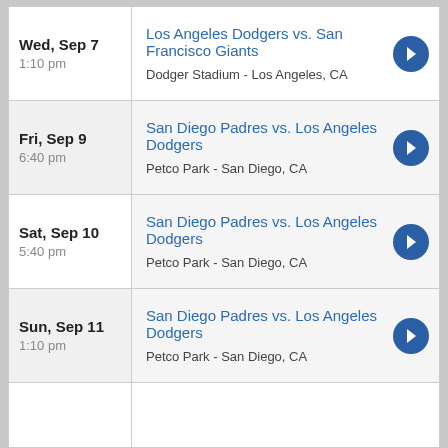| Date | Event |
| --- | --- |
| Wed, Sep 7
1:10 pm | Los Angeles Dodgers vs. San Francisco Giants
Dodger Stadium - Los Angeles, CA |
| Fri, Sep 9
6:40 pm | San Diego Padres vs. Los Angeles Dodgers
Petco Park - San Diego, CA |
| Sat, Sep 10
5:40 pm | San Diego Padres vs. Los Angeles Dodgers
Petco Park - San Diego, CA |
| Sun, Sep 11
1:10 pm | San Diego Padres vs. Los Angeles Dodgers
Petco Park - San Diego, CA |